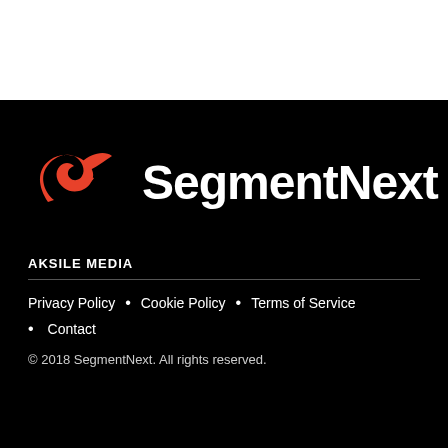[Figure (logo): SegmentNext logo: red abstract bird/wave icon on left, white bold text 'SegmentNext' on right, on black background]
AKSILE MEDIA
Privacy Policy • Cookie Policy • Terms of Service
• Contact
© 2018 SegmentNext. All rights reserved.